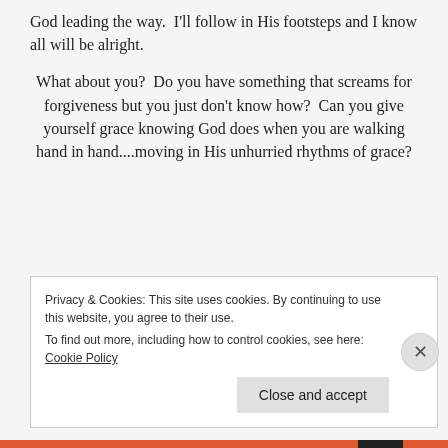God leading the way.  I'll follow in His footsteps and I know all will be alright.
What about you?  Do you have something that screams for forgiveness but you just don't know how?  Can you give yourself grace knowing God does when you are walking hand in hand....moving in His unhurried rhythms of grace?
Privacy & Cookies: This site uses cookies. By continuing to use this website, you agree to their use.
To find out more, including how to control cookies, see here: Cookie Policy
Close and accept